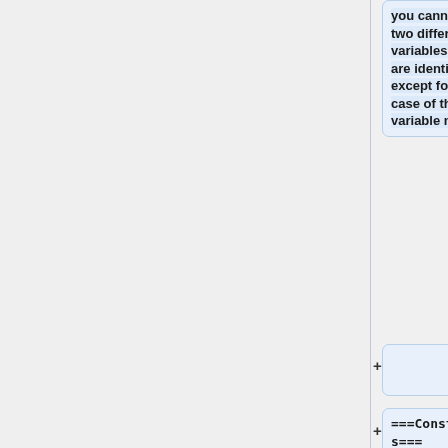you cannot set two different variables which are identical except for the case of the variable name.
+
===Constructors===
+
{| border="1" cellpadding="5" cellspacing="0"
|-
|valign="top" |
<tt>Workspace()</tt>